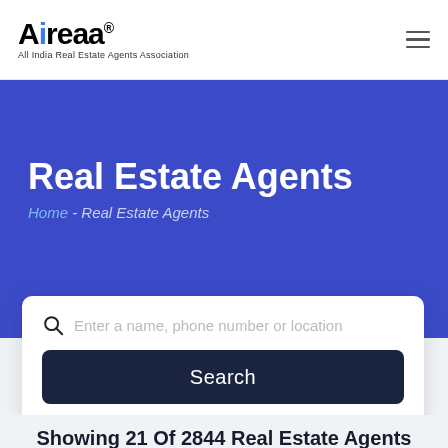[Figure (logo): Aireaa logo - All India Real Estate Agents Association with blue dot on letter i]
Aireaa® - All India Real Estate Agents Association
Real Estate Agents
Home - Real Estate Agents
Enter a name, phone number or location
Search
Showing 21 Of 2844 Real Estate Agents